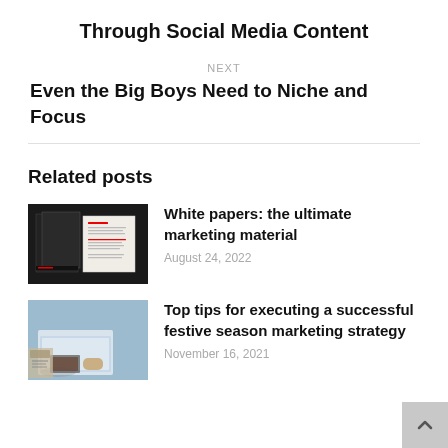Through Social Media Content
NEXT
Even the Big Boys Need to Niche and Focus
Related posts
[Figure (photo): Dark background photo of white papers/booklets spread out]
White papers: the ultimate marketing material
August 24, 2022
[Figure (photo): Person working on laptop with coffee cup, blurred office background]
Top tips for executing a successful festive season marketing strategy
November 16, 2021